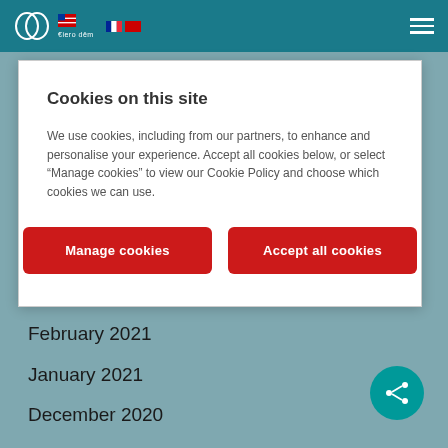Navigation bar with logo and hamburger menu
Cookies on this site
We use cookies, including from our partners, to enhance and personalise your experience. Accept all cookies below, or select “Manage cookies” to view our Cookie Policy and choose which cookies we can use.
February 2021
January 2021
December 2020
November 2020
October 2020
July 2020
June 2020
April 2020
March 2020
February 2020